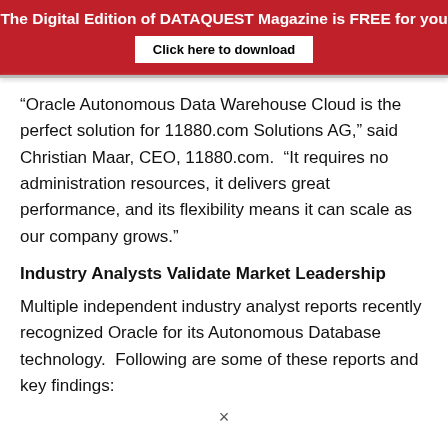The Digital Edition of DATAQUEST Magazine is FREE for you
Click here to download
“Oracle Autonomous Data Warehouse Cloud is the perfect solution for 11880.com Solutions AG,” said Christian Maar, CEO, 11880.com. “It requires no administration resources, it delivers great performance, and its flexibility means it can scale as our company grows.”
Industry Analysts Validate Market Leadership
Multiple independent industry analyst reports recently recognized Oracle for its Autonomous Database technology. Following are some of these reports and key findings:
×